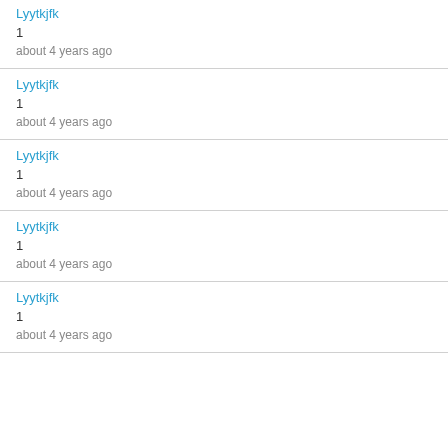Lyytkjfk
1
about 4 years ago
Lyytkjfk
1
about 4 years ago
Lyytkjfk
1
about 4 years ago
Lyytkjfk
1
about 4 years ago
Lyytkjfk
1
about 4 years ago